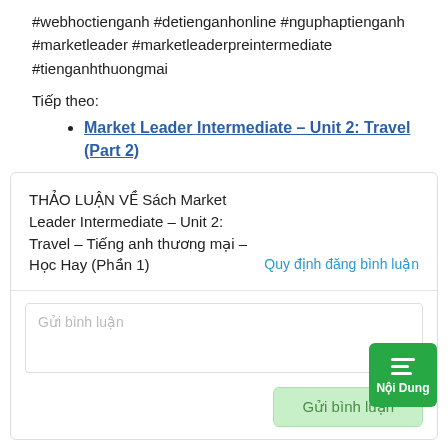#webhoctienganh #detienganhonline #nguphaptienganh #marketleader #marketleaderpreintermediate #tienganhthuongmai
Tiếp theo:
Market Leader Intermediate – Unit 2: Travel (Part 2)
THẢO LUẬN VỀ Sách Market Leader Intermediate – Unit 2: Travel – Tiếng anh thương mại – Học Hay (Phần 1)
Quy định đăng bình luận
Gửi bình luận
0/2
Gửi bình luận